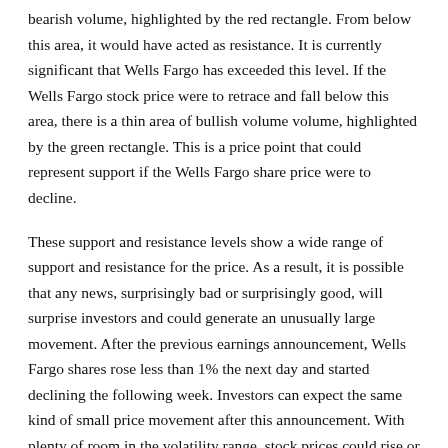bearish volume, highlighted by the red rectangle. From below this area, it would have acted as resistance. It is currently significant that Wells Fargo has exceeded this level. If the Wells Fargo stock price were to retrace and fall below this area, there is a thin area of bullish volume volume, highlighted by the green rectangle. This is a price point that could represent support if the Wells Fargo share price were to decline.
These support and resistance levels show a wide range of support and resistance for the price. As a result, it is possible that any news, surprisingly bad or surprisingly good, will surprise investors and could generate an unusually large movement. After the previous earnings announcement, Wells Fargo shares rose less than 1% the next day and started declining the following week. Investors can expect the same kind of small price movement after this announcement. With plenty of room in the volatility range, stock prices could rise or fall more than expected.
Look at the options